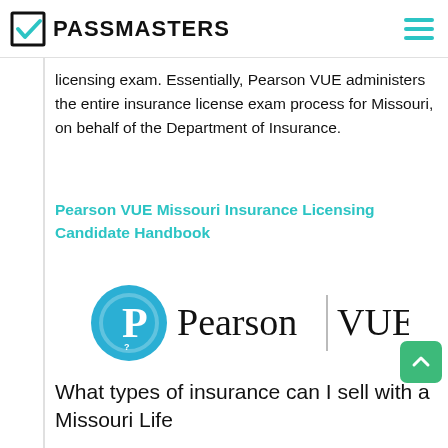PASSMASTERS
licensing exam. Essentially, Pearson VUE administers the entire insurance license exam process for Missouri, on behalf of the Department of Insurance.
Pearson VUE Missouri Insurance Licensing Candidate Handbook
[Figure (logo): Pearson VUE logo with circular P icon and text 'Pearson | VUE']
What types of insurance can I sell with a Missouri Life